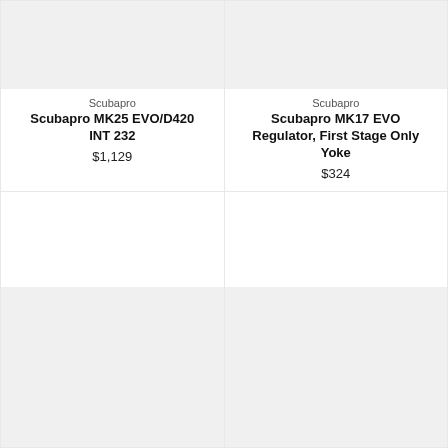[Figure (photo): Product image placeholder (gray) for Scubapro MK25 EVO/D420 INT 232 regulator, partially cropped at top]
Scubapro
Scubapro MK25 EVO/D420 INT 232
$1,129
[Figure (photo): Product image placeholder (gray) for Scubapro MK17 EVO Regulator, First Stage Only Yoke, partially cropped at top]
Scubapro
Scubapro MK17 EVO Regulator, First Stage Only Yoke
$324
[Figure (photo): Product image placeholder (gray) for Scubapro product (bottom left card)]
Scubapro
[Figure (photo): Product image placeholder (gray) for Sherwood product (bottom right card)]
Sherwood